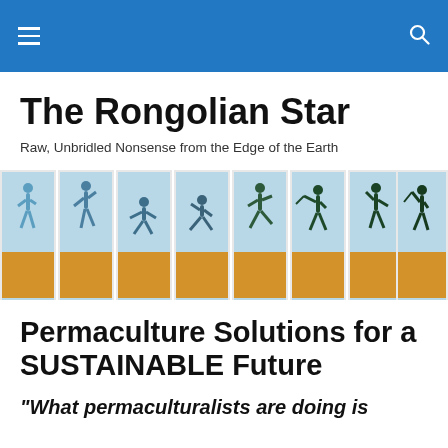The Rongolian Star — navigation header with hamburger menu and search icon
The Rongolian Star
Raw, Unbridled Nonsense from the Edge of the Earth
[Figure (illustration): A series of eight panels showing silhouetted baseball player figures in various action poses (pitching, fielding, batting, running) against a light blue and golden yellow background, arranged side by side.]
Permaculture Solutions for a SUSTAINABLE Future
“What permaculturalists are doing is